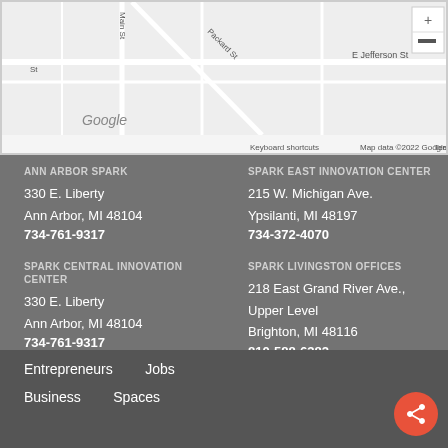[Figure (map): Google Maps screenshot showing Ann Arbor area with street labels including E Jefferson St, Main St, Packard St, and Google logo with copyright notice]
ANN ARBOR SPARK
330 E. Liberty
Ann Arbor, MI 48104
734-761-9317
SPARK EAST INNOVATION CENTER
215 W. Michigan Ave.
Ypsilanti, MI 48197
734-372-4070
SPARK CENTRAL INNOVATION CENTER
330 E. Liberty
Ann Arbor, MI 48104
734-761-9317
SPARK LIVINGSTON OFFICES
218 East Grand River Ave., Upper Level
Brighton, MI 48116
810-588-6382
Entrepreneurs
Jobs
Business
Spaces